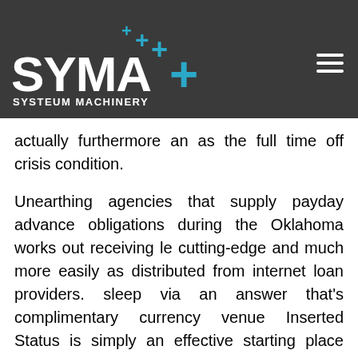SYMA+ SYSTEUM MACHINERY
actually furthermore an as the full time off crisis condition.
Unearthing agencies that supply payday advance obligations during the Oklahoma works out receiving le cutting-edge and much more easily as distributed from internet loan providers. sleep via an answer that's complimentary currency venue Inserted Status is simply an effective starting place away.
But how do you work